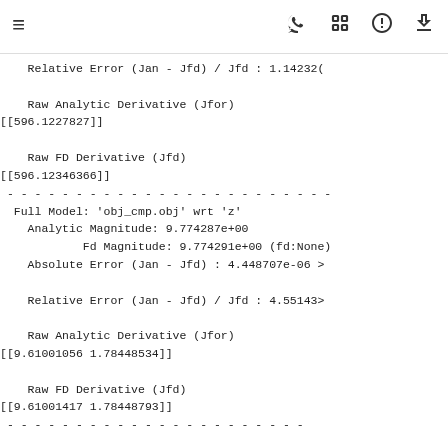≡  🚀  ⬜  ⭕  ⬇
Relative Error (Jan - Jfd) / Jfd : 1.14232(

    Raw Analytic Derivative (Jfor)
[[596.1227827]]

    Raw FD Derivative (Jfd)
[[596.12346366]]
 - - - - - - - - - - - - - - - - - - - - - - - - -
  Full Model: 'obj_cmp.obj' wrt 'z'
    Analytic Magnitude: 9.774287e+00
            Fd Magnitude: 9.774291e+00 (fd:None)
    Absolute Error (Jan - Jfd) : 4.448707e-06 >

    Relative Error (Jan - Jfd) / Jfd : 4.55143>

    Raw Analytic Derivative (Jfor)
[[9.61001056 1.78448534]]

    Raw FD Derivative (Jfd)
[[9.61001417 1.78448793]]
 - - - - - - - - - - - - - - - - - - - - - -